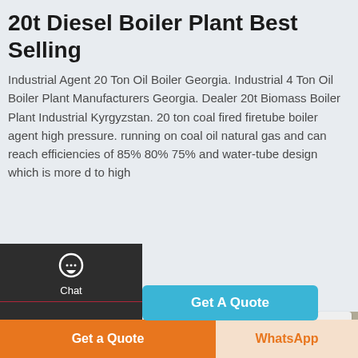20t Diesel Boiler Plant Best Selling
Industrial Agent 20 Ton Oil Boiler Georgia. Industrial 4 Ton Oil Boiler Plant Manufacturers Georgia. Dealer 20t Biomass Boiler Plant Industrial Kyrgyzstan. 20 ton coal fired firetube boiler agent high pressure. running on coal oil natural gas and can reach efficiencies of 85% 80% 75% and water-tube design which is more d to high
[Figure (screenshot): Sidebar with chat, email, contact icons on dark background with red dividers]
[Figure (photo): Industrial boiler plant interior showing large cylindrical boilers with orange/yellow piping]
[Figure (other): Get A Quote button in teal/cyan color]
[Figure (other): Scroll to top button on right side]
Get a Quote
WhatsApp